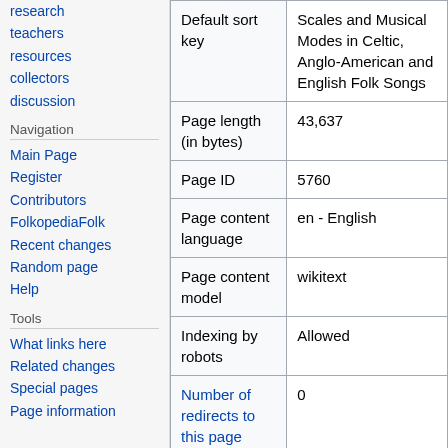research
teachers
resources
collectors
discussion
Navigation
Main Page
Register
Contributors
FolkopediaFolk
Recent changes
Random page
Help
Tools
What links here
Related changes
Special pages
Page information
| Property | Value |
| --- | --- |
| Default sort key | Scales and Musical Modes in Celtic, Anglo-American and English Folk Songs |
| Page length (in bytes) | 43,637 |
| Page ID | 5760 |
| Page content language | en - English |
| Page content model | wikitext |
| Indexing by robots | Allowed |
| Number of redirects to this page | 0 |
| Counted as a content page | Yes |